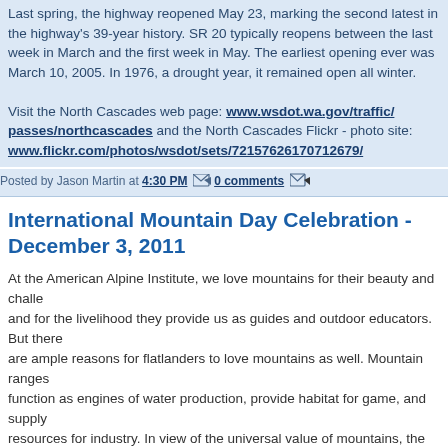Last spring, the highway reopened May 23, marking the second latest in the highway's 39-year history. SR 20 typically reopens between the last week in March and the first week in May. The earliest opening ever was March 10, 2005. In 1976, a drought year, it remained open all winter.

Visit the North Cascades web page: www.wsdot.wa.gov/traffic/passes/northcascades and the North Cascades Flickr - photo site: www.flickr.com/photos/wsdot/sets/72157626170712679/
Posted by Jason Martin at 4:30 PM  0 comments
International Mountain Day Celebration - December 3, 2011
At the American Alpine Institute, we love mountains for their beauty and challenge, and for the livelihood they provide us as guides and outdoor educators. But there are ample reasons for flatlanders to love mountains as well. Mountain ranges function as engines of water production, provide habitat for game, and supply resources for industry. In view of the universal value of mountains, the United Nations established International Mountain Day to celebrate this shared natural heritage.
This year, we have decided to benefit the Northwest Weather and Avalanche Center with our International Mountain Day activities.
The Northwest Weather and Avalanche Center (NWAC) promotes safe by helping reduce the impacts of avalanches and advance mountain